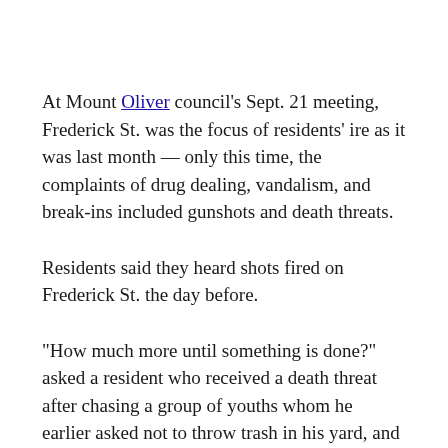At Mount Oliver council's Sept. 21 meeting, Frederick St. was the focus of residents' ire as it was last month — only this time, the complaints of drug dealing, vandalism, and break-ins included gunshots and death threats.
Residents said they heard shots fired on Frederick St. the day before.
"How much more until something is done?" asked a resident who received a death threat after chasing a group of youths whom he earlier asked not to throw trash in his yard, and then came to the aid of an elderly woman who confronted them.
After he filed a police report, two youths were waiting for him when he got off the bus. He fears retaliation.